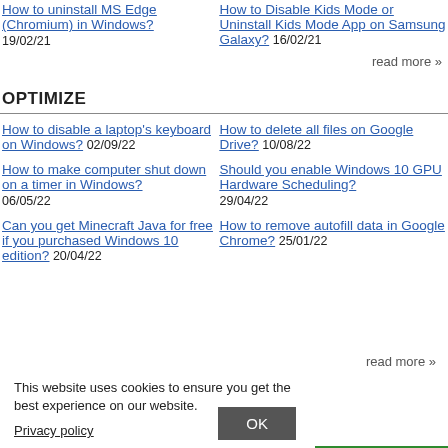How to uninstall MS Edge (Chromium) in Windows? 19/02/21
How to Disable Kids Mode or Uninstall Kids Mode App on Samsung Galaxy? 16/02/21
read more »
OPTIMIZE
How to disable a laptop's keyboard on Windows? 02/09/22
How to delete all files on Google Drive? 10/08/22
How to make computer shut down on a timer in Windows? 06/05/22
Should you enable Windows 10 GPU Hardware Scheduling? 29/04/22
Can you get Minecraft Java for free if you purchased Windows 10 edition? 20/04/22
How to remove autofill data in Google Chrome? 25/01/22
read more »
This website uses cookies to ensure you get the best experience on our website.
Privacy policy
OK